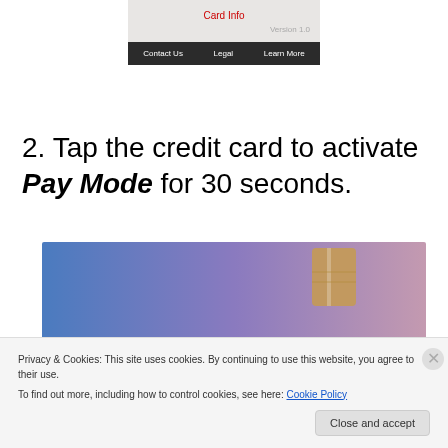[Figure (screenshot): Mobile app screen showing 'Card Info' header in red, 'Version 1.0' text, and a dark navigation bar with 'Contact Us', 'Legal', 'Learn More' links]
2. Tap the credit card to activate Pay Mode for 30 seconds.
[Figure (photo): Credit card photo showing blue-to-purple gradient with a gold/tan chip visible]
Privacy & Cookies: This site uses cookies. By continuing to use this website, you agree to their use.
To find out more, including how to control cookies, see here: Cookie Policy
Close and accept